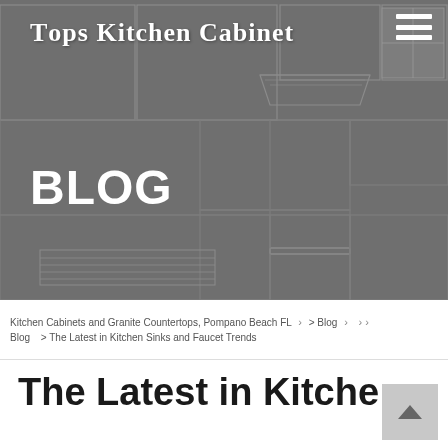Tops Kitchen Cabinet
[Figure (illustration): Kitchen cabinet line drawing / wireframe illustration in gray tones used as hero banner background]
BLOG
Kitchen Cabinets and Granite Countertops, Pompano Beach FL > Blog > > Blog > The Latest in Kitchen Sinks and Faucet Trends
The Latest in Kitchen